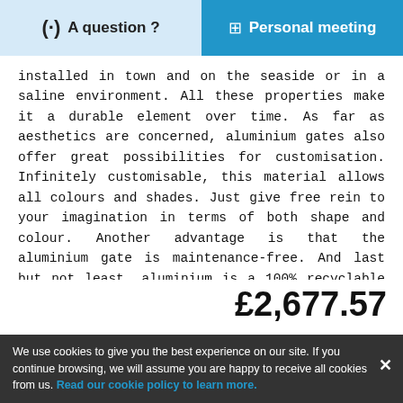A question ?  |  Personal meeting
installed in town and on the seaside or in a saline environment. All these properties make it a durable element over time. As far as aesthetics are concerned, aluminium gates also offer great possibilities for customisation. Infinitely customisable, this material allows all colours and shades. Just give free rein to your imagination in terms of both shape and colour. Another advantage is that the aluminium gate is maintenance-free. And last but not least, aluminium is a 100% recyclable and therefore very environmentally friendly material.
THE CHOICE OF THE ALUMINIUM SLIDING GATE: THE KEY CRITERIA!
Choosing a gate is a decision that requires careful consideration.
£2,677.57
We use cookies to give you the best experience on our site. If you continue browsing, we will assume you are happy to receive all cookies from us. Read our cookie policy to learn more.